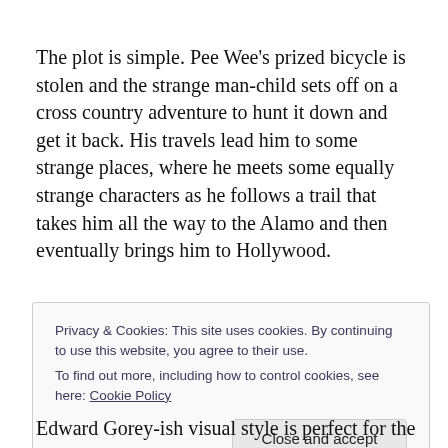The plot is simple. Pee Wee's prized bicycle is stolen and the strange man-child sets off on a cross country adventure to hunt it down and get it back. His travels lead him to some strange places, where he meets some equally strange characters as he follows a trail that takes him all the way to the Alamo and then eventually brings him to Hollywood.
Privacy & Cookies: This site uses cookies. By continuing to use this website, you agree to their use. To find out more, including how to control cookies, see here: Cookie Policy
Close and accept
Edward Gorey-ish visual style is perfect for the